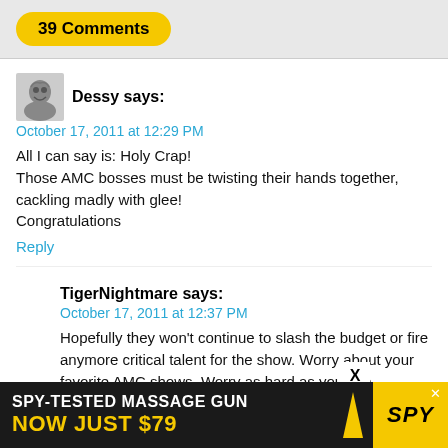39 Comments
Dessy says:
October 17, 2011 at 12:29 PM
All I can say is: Holy Crap!
Those AMC bosses must be twisting their hands together, cackling madly with glee!
Congratulations
Reply
TigerNightmare says:
October 17, 2011 at 12:37 PM
Hopefully they won't continue to slash the budget or fire anymore critical talent for the show. Worry about your favorite AMC shows. Worry as hard as you can
Reply
[Figure (infographic): Advertisement banner: SPY-TESTED MASSAGE GUN NOW JUST $79 with SPY logo]